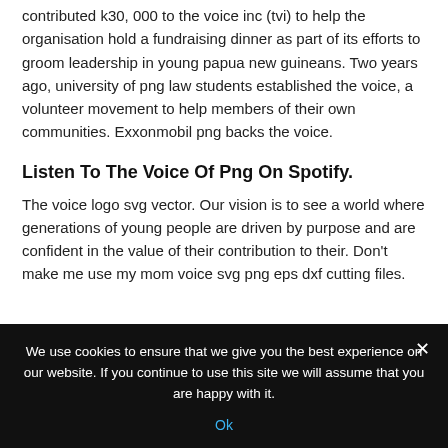contributed k30, 000 to the voice inc (tvi) to help the organisation hold a fundraising dinner as part of its efforts to groom leadership in young papua new guineans. Two years ago, university of png law students established the voice, a volunteer movement to help members of their own communities. Exxonmobil png backs the voice.
Listen To The Voice Of Png On Spotify.
The voice logo svg vector. Our vision is to see a world where generations of young people are driven by purpose and are confident in the value of their contribution to their. Don't make me use my mom voice svg png eps dxf cutting files.
We use cookies to ensure that we give you the best experience on our website. If you continue to use this site we will assume that you are happy with it.
Ok